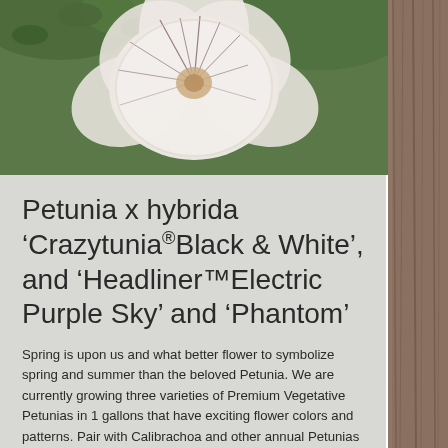[Figure (photo): Close-up photo of a white Petunia flower with dark veining/streaks from center, set against green foliage background. A wooden post/panel is visible on the right side of the image.]
Petunia x hybrida 'Crazytunia®Black & White', and 'Headliner™Electric Purple Sky' and 'Phantom'
Spring is upon us and what better flower to symbolize spring and summer than the beloved Petunia. We are currently growing three varieties of Premium Vegetative Petunias in 1 gallons that have exciting flower colors and patterns. Pair with Calibrachoa and other annual Petunias and you will create an eye-catching display. 'Crazytunia® Black &